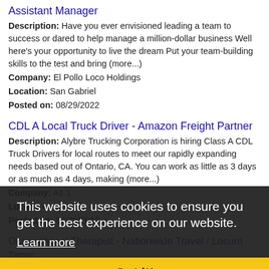Assistant Manager
Description: Have you ever envisioned leading a team to success or dared to help manage a million-dollar business Well here's your opportunity to live the dream Put your team-building skills to the test and bring (more...)
Company: El Pollo Loco Holdings
Location: San Gabriel
Posted on: 08/29/2022
CDL A Local Truck Driver - Amazon Freight Partner
Description: Alybre Trucking Corporation is hiring Class A CDL Truck Drivers for local routes to meet our rapidly expanding needs based out of Ontario, CA. You can work as little as 3 days or as much as 4 days, making (more...)
Company: A1 1
Location:
Posted on: 08/29/2022
Occupational Therapist - Nationwide Travel / Locum
Tienen
Description: Of all the Healthcare Professional specialties we offer, Occupational Therapist are one of the specialties that have the most difference between staffing agencies in job / travel
This website uses cookies to ensure you get the best experience on our website.
Learn more
Got it!